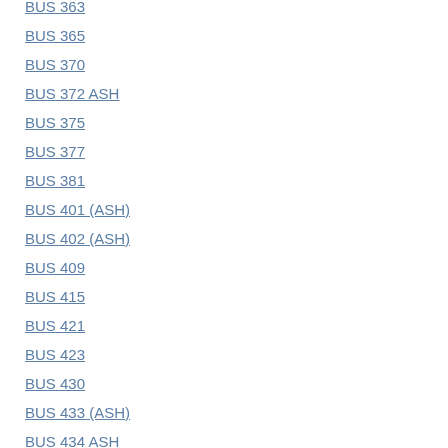BUS 363
BUS 365
BUS 370
BUS 372 ASH
BUS 375
BUS 377
BUS 381
BUS 401 (ASH)
BUS 402 (ASH)
BUS 409
BUS 415
BUS 421
BUS 423
BUS 430
BUS 433 (ASH)
BUS 434 ASH
BUS 435 (ASH)
BUS 435 (STR)